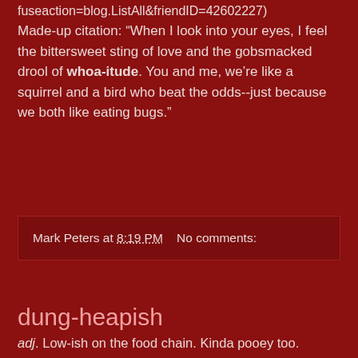fuseaction=blog.ListAll&friendID=42602227)
Made-up citation: “When I look into your eyes, I feel the bittersweet sting of love and the gobsmacked drool of whoa-itude. You and me, we’re like a squirrel and a bird who beat the odds--just because we both like eating bugs.”
Mark Peters at 8:19 PM   No comments:
dung-heapish
adj. Low-ish on the food chain. Kinda pooey too.
Real citation: “Maybe so, but where is the latter-day Harry Truman when he is so desperately needed in that otherwise dung-heapish gaggle of leftist clods vying for the Dem nomination?”
(Sept. 29, 2007, Ankle Biting Pundits, http://www.anklebitingpundits.com/content/?p=2612)